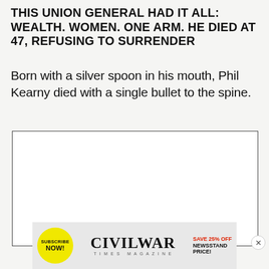THIS UNION GENERAL HAD IT ALL: WEALTH. WOMEN. ONE ARM. HE DIED AT 47, REFUSING TO SURRENDER
Born with a silver spoon in his mouth, Phil Kearny died with a single bullet to the spine.
[Figure (photo): Empty white image placeholder box with border and a 'STORIES' button overlay at the bottom center]
[Figure (infographic): Civil War Times magazine subscription advertisement banner. Yellow circle with SUBSCRIBE NOW!, Civil War Times magazine logo in center, SAVE 25% OFF NEWSSTAND PRICE! text on right.]